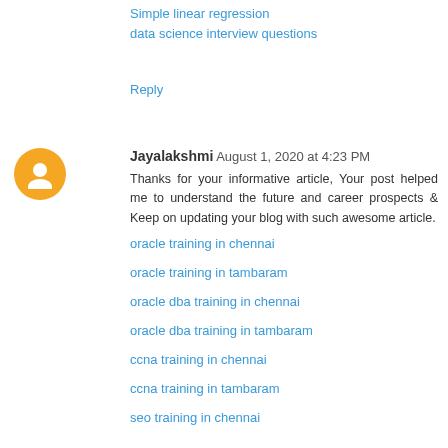Simple linear regression
data science interview questions
Reply
Jayalakshmi  August 1, 2020 at 4:23 PM
Thanks for your informative article, Your post helped me to understand the future and career prospects & Keep on updating your blog with such awesome article.
oracle training in chennai
oracle training in tambaram
oracle dba training in chennai
oracle dba training in tambaram
ccna training in chennai
ccna training in tambaram
seo training in chennai